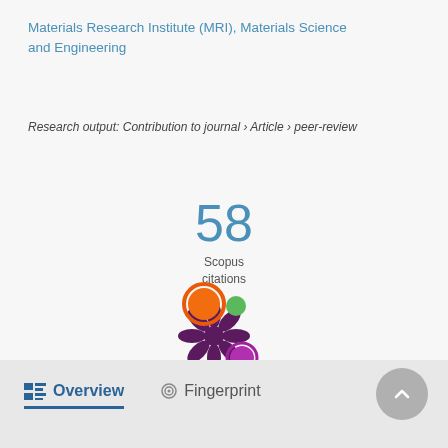Materials Research Institute (MRI), Materials Science and Engineering
Research output: Contribution to journal › Article › peer-review
58
Scopus
citations
[Figure (logo): Altmetric donut-style logo with colored circles on a dark purple splat shape]
Overview   Fingerprint